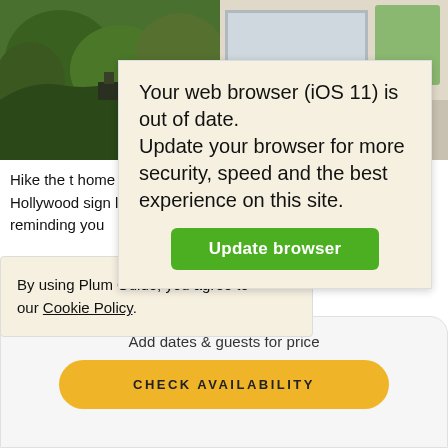[Figure (photo): Left photo showing a hillside with trees and a building visible, Hollywood hills style landscape]
[Figure (photo): Right photo showing a bright modern interior room with windows and a green plant]
Your web browser (iOS 11) is out of date. Update your browser for more security, speed and the best experience on this site. [Update browser button]
Hike the t... home – the Hollywood sign looming large reminding you
...r and ta... musical inspiration fro... stunning interior
By using Plum Guide, you agree to our Cookie Policy.
Add dates & guests for price
CHECK AVAILABILITY